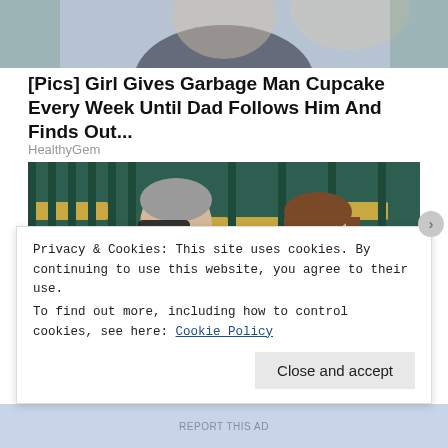[Figure (photo): Top portion of a photo showing a woman with dark clothing, partially cropped at top of page]
[Pics] Girl Gives Garbage Man Cupcake Every Week Until Dad Follows Him And Finds Out...
HealthyGem
[Figure (photo): Two people sitting in stadium seating at what appears to be a tennis match. An older man with gray hair and sunglasses in a dark suit, and a young woman with brown hair and sunglasses.]
Privacy & Cookies: This site uses cookies. By continuing to use this website, you agree to their use.
To find out more, including how to control cookies, see here: Cookie Policy
Close and accept